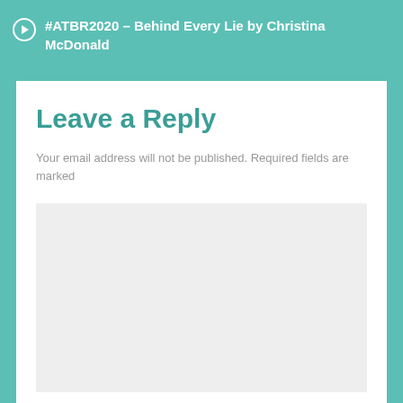#ATBR2020 – Behind Every Lie by Christina McDonald
Leave a Reply
Your email address will not be published. Required fields are marked
[Figure (other): Empty light gray comment text area input box]